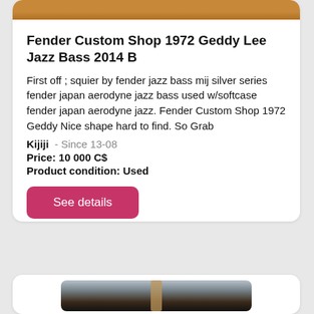[Figure (photo): Top portion of a bass guitar, warm brown/orange wood finish, cropped at top of card]
Fender Custom Shop 1972 Geddy Lee Jazz Bass 2014 B
First off ; squier by fender jazz bass mij silver series fender japan aerodyne jazz bass used w/softcase fender japan aerodyne jazz. Fender Custom Shop 1972 Geddy Nice shape hard to find. So Grab
Kijiji  - Since 13-08
Price: 10 000 C$
Product condition: Used
See details
[Figure (photo): Bass guitar hanging against a light background, partial view showing headstock and neck]